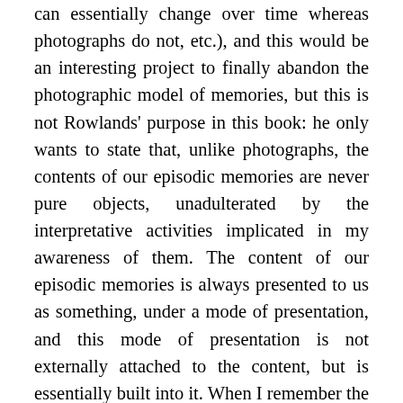can essentially change over time whereas photographs do not, etc.), and this would be an interesting project to finally abandon the photographic model of memories, but this is not Rowlands' purpose in this book: he only wants to state that, unlike photographs, the contents of our episodic memories are never pure objects, unadulterated by the interpretative activities implicated in my awareness of them. The content of our episodic memories is always presented to us as something, under a mode of presentation, and this mode of presentation is not externally attached to the content, but is essentially built into it. When I remember the face of my father, I remember this face as the face of my father, and not as a visual image of a face whose appearance needs a subsequent act of interpretation to determine that it is a memory and that it is the face of my father. It may be the case that I cannot remember whose face